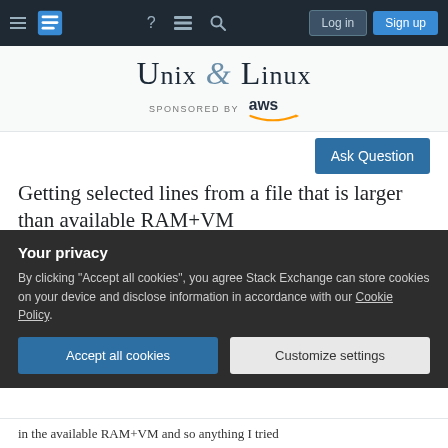Unix & Linux — Navigation bar with Log in and Sign up buttons
Unix & Linux
SPONSORED BY aws
Ask Question
Getting selected lines from a file that is larger than available RAM+VM
Asked 2 years, 7 months ago  Modified 2 years, 7 months ago  Viewed 54 times
Your privacy
By clicking "Accept all cookies", you agree Stack Exchange can store cookies on your device and disclose information in accordance with our Cookie Policy.
Accept all cookies  Customize settings
in the available RAM+VM and so anything I tried